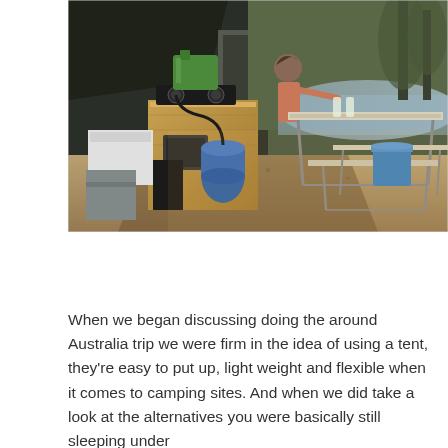[Figure (photo): Outdoor camping scene beside a river. A wooden camp kitchen unit with a gas burner and blue gas cylinder attached. A green jerry can sits on top. A person stands at the camp kitchen working. Folding picnic tables and benches are visible. A dark canvas tent is in the background. Trees and a riverbank are visible in the background. Warm late-afternoon light.]
When we began discussing doing the around Australia trip we were firm in the idea of using a tent, they're easy to put up, light weight and flexible when it comes to camping sites. And when we did take a look at the alternatives you were basically still sleeping under